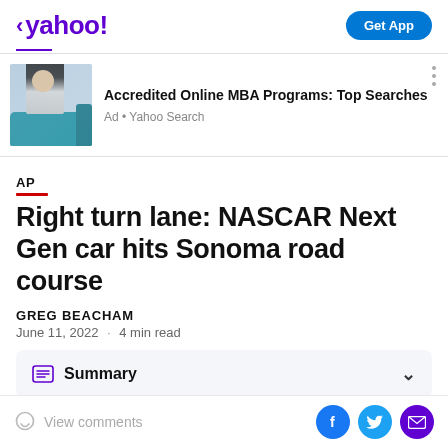< yahoo! | Get App
[Figure (screenshot): Yahoo mobile app header with purple yahoo! logo and Get App button]
[Figure (photo): Advertisement banner: woman on teal sofa with laptop. Ad title: Accredited Online MBA Programs: Top Searches. Ad source: Ad • Yahoo Search]
Right turn lane: NASCAR Next Gen car hits Sonoma road course
GREG BEACHAM
June 11, 2022 · 4 min read
Summary
View comments